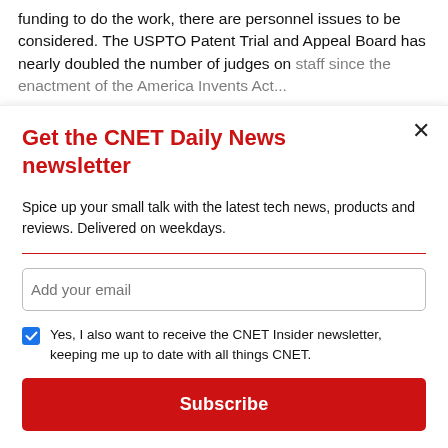funding to do the work, there are personnel issues to be considered. The USPTO Patent Trial and Appeal Board has nearly doubled the number of judges on staff since the enactment of the America Invents Act...
Get the CNET Daily News newsletter
Spice up your small talk with the latest tech news, products and reviews. Delivered on weekdays.
Add your email
Yes, I also want to receive the CNET Insider newsletter, keeping me up to date with all things CNET.
Subscribe
By signing up, you agree to our Terms of Use and acknowledge the data practices in our Privacy Policy. You may unsubscribe at any time.